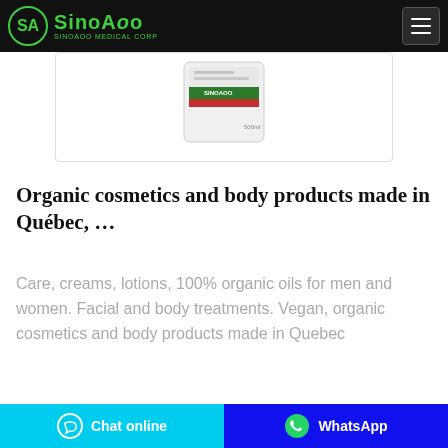SinoAoo Medical Corp
[Figure (photo): Partial view of a product bottle/container with green and red label, showing top portion of the packaging]
Organic cosmetics and body products made in Québec, …
Care, creams, lotions, 100% organic oils for men and women. Facial and body treatments. Vegan, organic cosmetics and body products made in Quebec
Chat online | WhatsApp